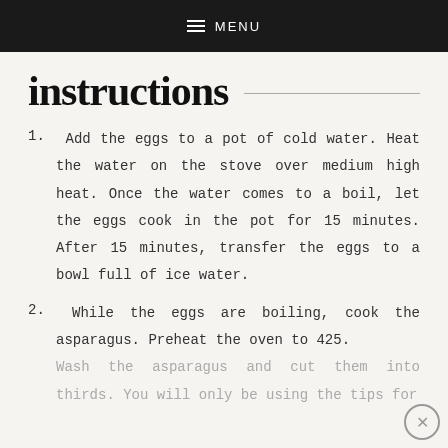≡ MENU
instructions
1. Add the eggs to a pot of cold water. Heat the water on the stove over medium high heat. Once the water comes to a boil, let the eggs cook in the pot for 15 minutes. After 15 minutes, transfer the eggs to a bowl full of ice water.
2. While the eggs are boiling, cook the asparagus. Preheat the oven to 425. Wash the asparagus and cut them into thirds. You will only be using the tips for